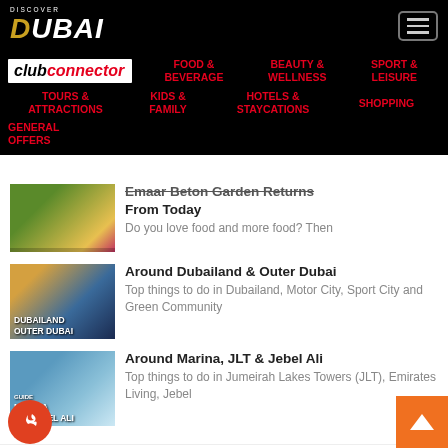DISCOVER DUBAI - Club Connector navigation: FOOD & BEVERAGE, BEAUTY & WELLNESS, SPORT & LEISURE, TOURS & ATTRACTIONS, KIDS & FAMILY, HOTELS & STAYCATIONS, SHOPPING, GENERAL OFFERS
From Today - Do you love food and more food? Then
Around Dubailand & Outer Dubai - Top things to do in Dubailand, Motor City, Sport City and Green Community
Around Marina, JLT & Jebel Ali - Top things to do in Jumeirah Lakes Towers (JLT), Emirates Living, Jebel
Around Al Barsha & Al Quoz - Top things to do in Al Barsha, Barsha Heights and Al Quoz
Around Downtown - Top things to do in Downtown Dubai, DIFC, Business Bay, Al Maydan and